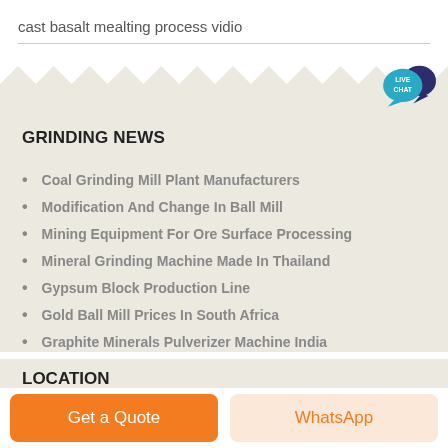cast basalt mealting process vidio
GRINDING NEWS
Coal Grinding Mill Plant Manufacturers
Modification And Change In Ball Mill
Mining Equipment For Ore Surface Processing
Mineral Grinding Machine Made In Thailand
Gypsum Block Production Line
Gold Ball Mill Prices In South Africa
Graphite Minerals Pulverizer Machine India
LOCATION
Get a Quote
WhatsApp